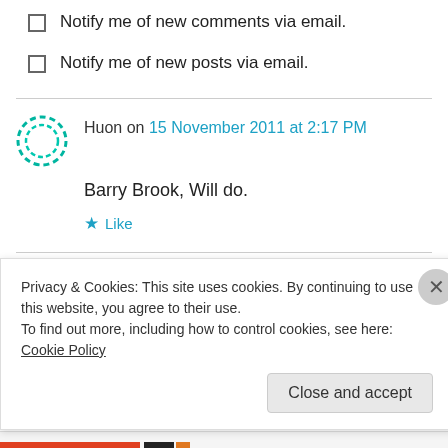Notify me of new comments via email.
Notify me of new posts via email.
Huon on 15 November 2011 at 2:17 PM
Barry Brook, Will do.
Like
Reply
Privacy & Cookies: This site uses cookies. By continuing to use this website, you agree to their use. To find out more, including how to control cookies, see here: Cookie Policy